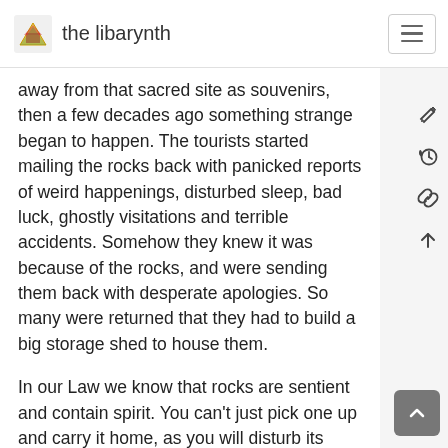the libarynth
away from that sacred site as souvenirs, then a few decades ago something strange began to happen. The tourists started mailing the rocks back with panicked reports of weird happenings, disturbed sleep, bad luck, ghostly visitations and terrible accidents. Somehow they knew it was because of the rocks, and were sending them back with desperate apologies. So many were returned that they had to build a big storage shed to house them.
In our Law we know that rocks are sentient and contain spirit. You can't just pick one up and carry it home, as you will disturb its spirit and it will disturb you in turn. If you sit at any campfire for a yarn with Aboriginal